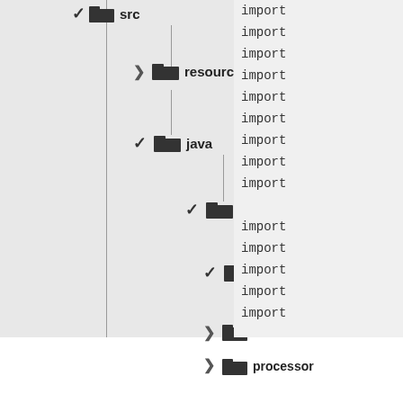[Figure (screenshot): IDE file tree showing src folder expanded with resources, java/krasa/formatter subfolders and Resources.java file, utils and processor folders]
import
import
import
import
import
import
import
import
import
import
import
import
import
import